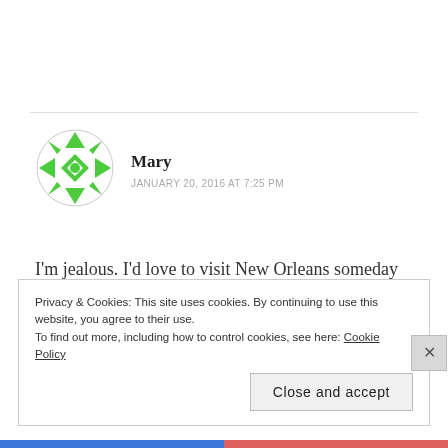[Figure (illustration): Green decorative avatar icon — circular shape with arrow/diamond patterns in green]
Mary
JANUARY 20, 2016 AT 7:25 PM
I'm jealous. I'd love to visit New Orleans someday (and have considered the French PhD program at Tulane, once everything settles for a little while). Many of the streets are named for French cities but
Privacy & Cookies: This site uses cookies. By continuing to use this website, you agree to their use.
To find out more, including how to control cookies, see here: Cookie Policy
Close and accept